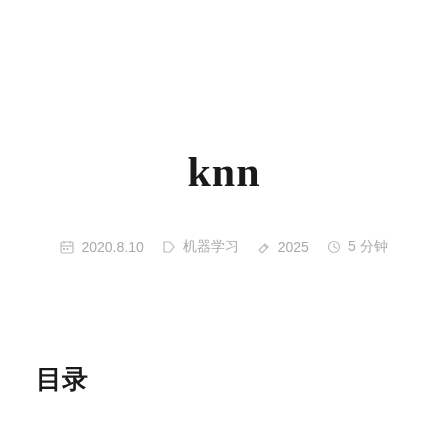knn
📅 2020.8.10  🗁 机器学习  ✏ 2025  🕐 5 分钟
目录